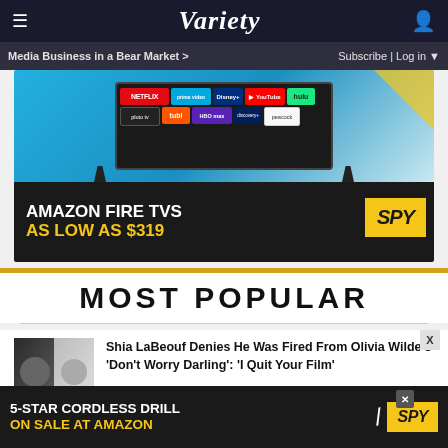VARIETY
Media Business in a Bear Market >
Subscribe | Log in
[Figure (photo): Amazon Fire TVs advertisement showing a smart TV displaying streaming service logos (Netflix, Prime Video, Disney+, YouTube, Hulu, Pluto, Tubi, HBO Max, Discovery, Peacock) with text 'AMAZON FIRE TVS AS LOW AS $319' and SPY logo]
MOST POPULAR
Shia LaBeouf Denies He Was Fired From Olivia Wilde's 'Don't Worry Darling': 'I Quit Your Film'
[Figure (photo): 5-Star Cordless Drill on Sale at Amazon advertisement with SPY logo]